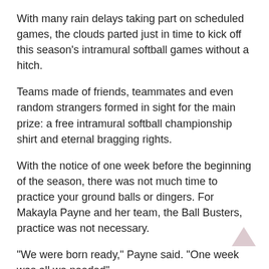With many rain delays taking part on scheduled games, the clouds parted just in time to kick off this season's intramural softball games without a hitch.
Teams made of friends, teammates and even random strangers formed in sight for the main prize: a free intramural softball championship shirt and eternal bragging rights.
With the notice of one week before the beginning of the season, there was not much time to practice your ground balls or dingers. For Makayla Payne and her team, the Ball Busters, practice was not necessary.
“We were born ready,” Payne said. “One week was all we needed”.
For many, intramural sports are fun and are played solely for enjoyment with friends. For others, winning is the only option. Catherine Upshaw, a freshmen and